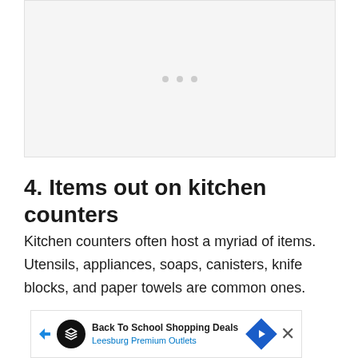[Figure (other): Gray placeholder image box with three small dots in the center, representing an image loading or advertisement slot.]
4. Items out on kitchen counters
Kitchen counters often host a myriad of items. Utensils, appliances, soaps, canisters, knife blocks, and paper towels are common ones.
[Figure (other): Advertisement banner for Back To School Shopping Deals at Leesburg Premium Outlets with navigation arrow icon, close button, and mute icon.]